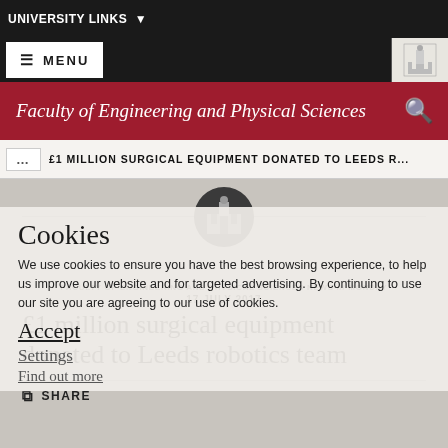UNIVERSITY LINKS ▼
≡ MENU
Faculty of Engineering and Physical Sciences
£1 MILLION SURGICAL EQUIPMENT DONATED TO LEEDS R...
Cookies
We use cookies to ensure you have the best browsing experience, to help us improve our website and for targeted advertising. By continuing to use our site you are agreeing to our use of cookies.
Accept
Settings
Find out more
FACULTY OF ENGINEERING AND PHYSICAL SCIENCES NEWS /// MONDAY 17 JULY 2017
£1 million surgical equipment donated to Leeds robotics team
SHARE
[Figure (photo): Bottom section showing two people, likely researchers or students, in a laboratory setting]